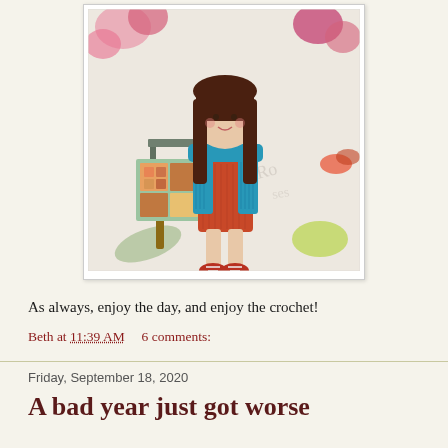[Figure (photo): A crocheted amigurumi doll with brown hair wearing a teal cardigan and orange-red dress with matching shoes, seated on a small wooden bench with a crocheted granny square blanket, against a decorative floral background.]
As always, enjoy the day, and enjoy the crochet!
Beth at 11:39 AM    6 comments:
Friday, September 18, 2020
A bad year just got worse